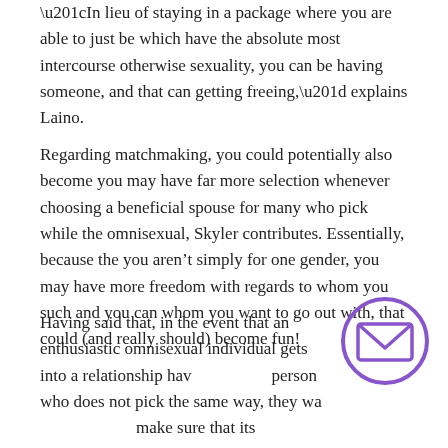“In lieu of staying in a package where you are able to just be which have the absolute most intercourse otherwise sexuality, you can be having someone, and that can getting freeing,” explains Laino.
Regarding matchmaking, you could potentially also become you may have far more selection whenever choosing a beneficial spouse for many who pick while the omnisexual, Skyler contributes. Essentially, because the you aren’t simply for one gender, you may have more freedom with regards to whom you such and you can whom you want to go out with, that could (and really should) become fun!
Having said that, in the event that an enthusiastic omnisexual individual gets into a relationship hav… person who does not pick the same way, they wa… make sure that its companion try safe enough that have themselves thus far an individual who will not
[Figure (illustration): Purple circle with envelope/mail icon inside]